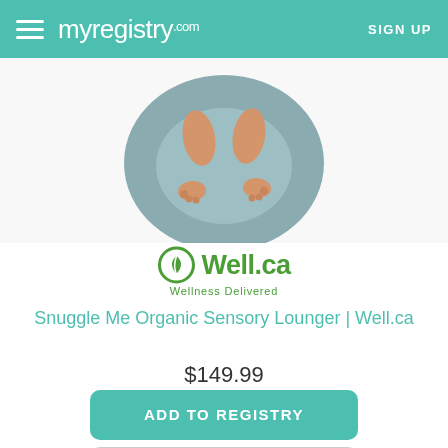myregistry.com  SIGN UP
[Figure (photo): Baby/infant resting in a grey Snuggle Me Organic Sensory Lounger, viewed from above, showing baby's legs and feet resting on the curved lounger cushion.]
[Figure (logo): Well.ca logo — green circle with leaf/sprout icon, text 'Well.ca' in bold green, tagline 'Wellness Delivered' below in green.]
Snuggle Me Organic Sensory Lounger | Well.ca
$149.99
ADD TO REGISTRY
BUY